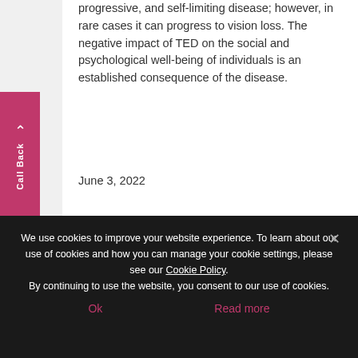progressive, and self-limiting disease; however, in rare cases it can progress to vision loss. The negative impact of TED on the social and psychological well-being of individuals is an established consequence of the disease.
June 3, 2022
Glioblastoma (GBM)
Market Spotlight
We use cookies to improve your website experience. To learn about our use of cookies and how you can manage your cookie settings, please see our Cookie Policy.
By continuing to use the website, you consent to our use of cookies.
Ok
Read more